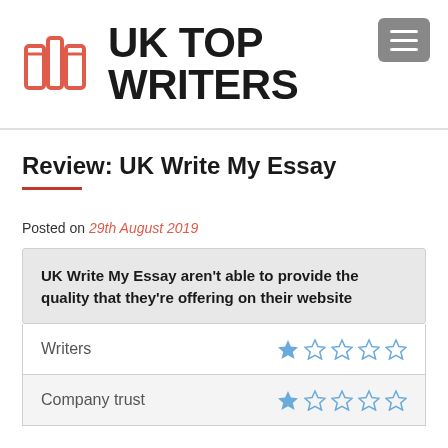UK TOP WRITERS
Review: UK Write My Essay
Posted on 29th August 2019
UK Write My Essay aren't able to provide the quality that they're offering on their website
| Category | Rating |
| --- | --- |
| Writers | 1 star out of 5 |
| Company trust | 1 star out of 5 |